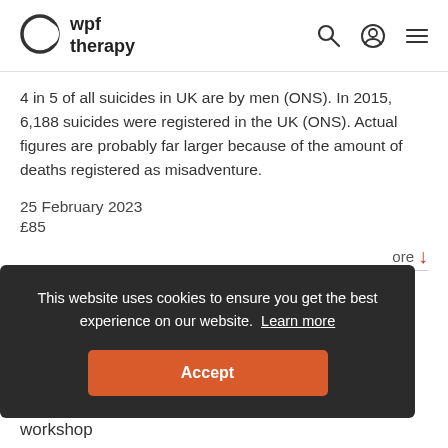wpf therapy
4 in 5 of all suicides in UK are by men (ONS). In 2015, 6,188 suicides were registered in the UK (ONS). Actual figures are probably far larger because of the amount of deaths registered as misadventure.
25 February 2023
£85
ore
workshop
[Figure (screenshot): Cookie consent banner with dark background reading 'This website uses cookies to ensure you get the best experience on our website. Learn more' and an orange Accept button.]